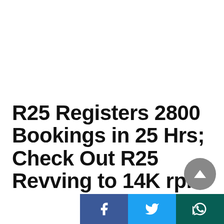[Figure (screenshot): Close (X) button in top right corner of an overlay/popup]
R25 Registers 2800 Bookings in 25 Hrs; Check Out R25 Revving to 14K rpm Video
PUBLISHED BY
Neelda
[Figure (infographic): Social share bar with Facebook, Twitter, and WhatsApp icons]